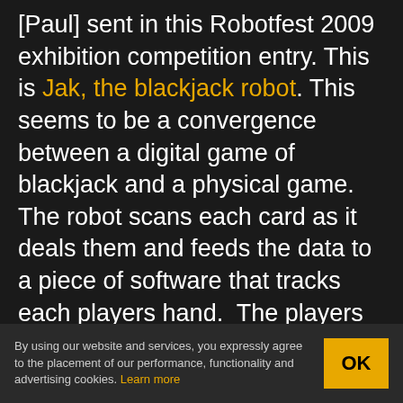[Paul] sent in this Robotfest 2009 exhibition competition entry. This is Jak, the blackjack robot. This seems to be a convergence between a digital game of blackjack and a physical game. The robot scans each card as it deals them and feeds the data to a piece of software that tracks each players hand.  The players select their next step on the screen and the robot responds appropriately. They have won 1st place in the Ontario competition and are now going to the international level. Jak wins a round in the video, but we didn't see him celebrating. Come on guys, make him
By using our website and services, you expressly agree to the placement of our performance, functionality and advertising cookies. Learn more